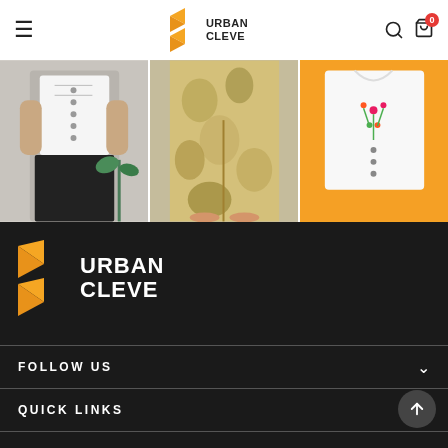Urban Cleve navigation header with hamburger menu, logo, search and cart icons
[Figure (photo): Three fashion product images side by side: white corset top with woman, floral/camo pants worn by model, white embroidered top with orange background]
[Figure (logo): Urban Cleve logo - orange angular arrow icon with URBAN CLEVE text in white on dark background]
FOLLOW US
QUICK LINKS
SUPPORT